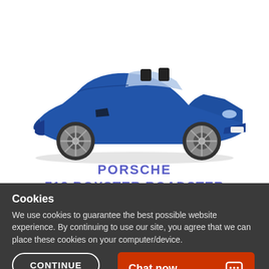[Figure (photo): Blue Porsche 718 Boxster Roadster sports car, convertible, shown from a 3/4 front angle on a white background.]
PORSCHE
718 BOXSTER ROADSTER
Cookies
We use cookies to guarantee the best possible website experience. By continuing to use our site, you agree that we can place these cookies on your computer/device.
CONTINUE
Chat now